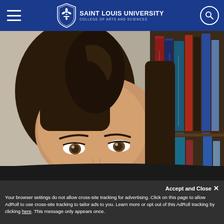Saint Louis University — College of Arts and Sciences
[Figure (photo): Close-up photo of a woman with long dark hair smiling slightly, with a bookshelf of colorful books visible in the background]
Accept and Close ✕
Your browser settings do not allow cross-site tracking for advertising. Click on this page to allow AdRoll to use cross-site tracking to tailor ads to you. Learn more or opt out of this AdRoll tracking by clicking here. This message only appears once.